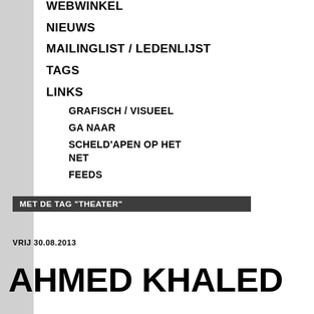WEBWINKEL
NIEUWS
MAILINGLIST / LEDENLIJST
TAGS
LINKS
GRAFISCH / VISUEEL
GA NAAR
SCHELD'APEN OP HET NET
FEEDS
MET DE TAG "THEATER"
VRIJ 30.08.2013
AHMED KHALED